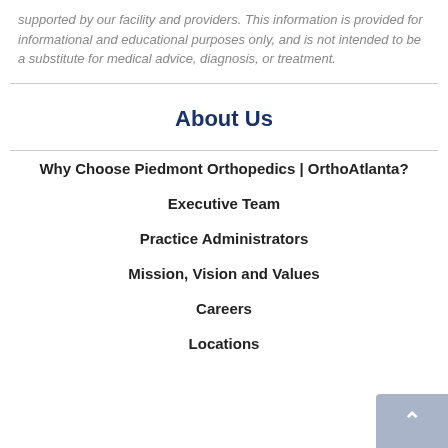supported by our facility and providers. This information is provided for informational and educational purposes only, and is not intended to be a substitute for medical advice, diagnosis, or treatment.
About Us
Why Choose Piedmont Orthopedics | OrthoAtlanta?
Executive Team
Practice Administrators
Mission, Vision and Values
Careers
Locations